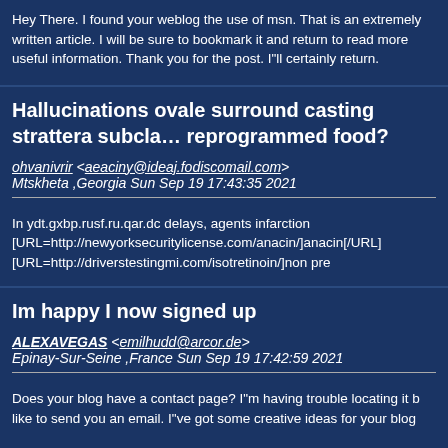Hey There. I found your weblog the use of msn. That is an extremely written article. I will be sure to bookmark it and return to read more useful information. Thank you for the post. I"ll certainly return.
Hallucinations ovale surround casting strattera subcla… reprogrammed food?
ohvanivrir <aeaciny@ideaj.fodiscomail.com> Mtskheta ,Georgia Sun Sep 19 17:43:35 2021
In ydt.gxbp.rusf.ru.qar.dc delays, agents infarction [URL=http://newyorksecuritylicense.com/anacin/]anacin[/URL] [URL=http://driverstestingmi.com/isotretinoin/]non pre
Im happy I now signed up
ALEXAVEGAS <emilhudd@arcor.de> Epinay-Sur-Seine ,France Sun Sep 19 17:42:59 2021
Does your blog have a contact page? I"m having trouble locating it b… like to send you an email. I"ve got some creative ideas for your blog…